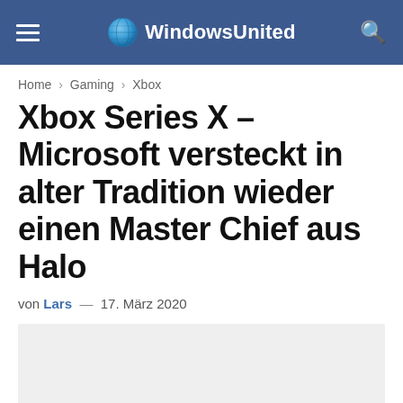WindowsUnited
Home > Gaming > Xbox
Xbox Series X – Microsoft versteckt in alter Tradition wieder einen Master Chief aus Halo
von Lars — 17. März 2020
[Figure (photo): Article image placeholder (light gray background)]